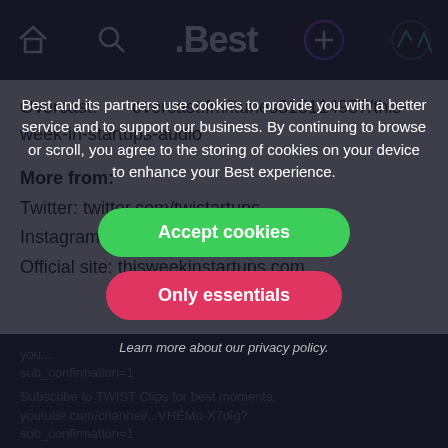.Best
Overcast: overcast.fm/itunes315114957/this-week-in-startups-audio
More from:
Twitter: twitter.com/twistartups
Instagram: instagram.com/twistartups
Official site: thisweekinstartups.com
Best and its partners use cookies to provide you with a better service and to support our business. By continuing to browse or scroll, you agree to the storing of cookies on your device to enhance your Best experience.
Accept cookies
Only essentials
Learn more about our privacy policy.